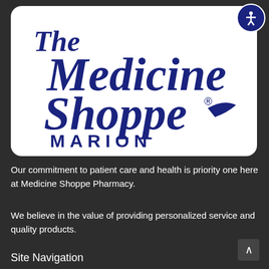[Figure (logo): The Medicine Shoppe Pharmacy logo with 'MARION' subtitle on white rounded rectangle background]
Our commitment to patient care and health is priority one here at Medicine Shoppe Pharmacy.
We believe in the value of providing personalized service and quality products.
Site Navigation